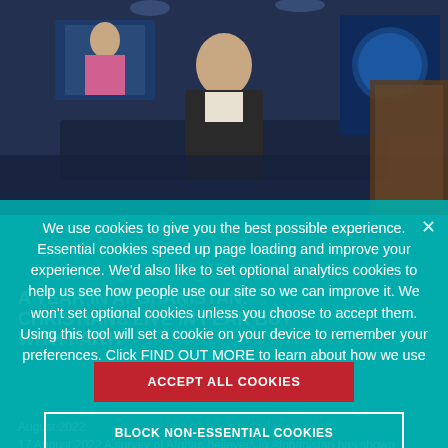[Figure (screenshot): TV studio scene with a male news anchor seated at a desk, a female guest on a monitor behind him, and a large screen showing a logo on the right. Dark blue studio set.]
We use cookies to give you the best possible experience. Essential cookies speed up page loading and improve your experience. We'd also like to set optional analytics cookies to help us see how people use our site so we can improve it. We won't set optional cookies unless you choose to accept them. Using this tool will set a cookie on your device to remember your preferences. Click FIND OUT MORE to learn about how we use cookies.
ACCEPT ALL COOKIES
BLOCK NON-ESSENTIAL COOKIES
FIND OUT MORE
A YEAR IN AFGHANISTAN: CHRISTIANS LIVE IN FEAR BUT WITH FAITH
August 2022
17 August 2022 A survey of Afghan believers in Afghanistan has shown that Christians live in fear one year
[Figure (screenshot): Partially visible image at bottom, appears to show a person — background article image related to Afghanistan content.]